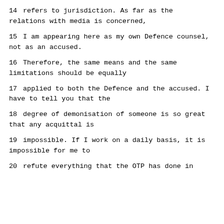14     refers to jurisdiction.  As far as the relations with media is concerned,
15     I am appearing here as my own Defence counsel, not as an accused.
16     Therefore, the same means and the same limitations should be equally
17     applied to both the Defence and the accused.  I have to tell you that the
18     degree of demonisation of someone is so great that any acquittal is
19     impossible.  If I work on a daily basis, it is impossible for me to
20     refute everything that the OTP has done in